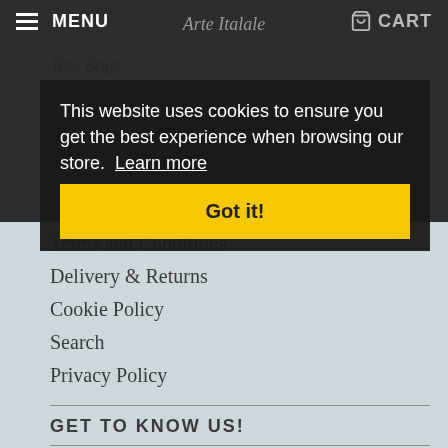MENU  CART
Tote Bags
Designer Tools
USEFUL LINKS
This website uses cookies to ensure you get the best experience when browsing our store. Learn more
Got it!
Contact Us
FAQ
Terms and Conditions
Delivery & Returns
Cookie Policy
Search
Privacy Policy
GET TO KNOW US!
[Figure (logo): Pink bird / flamingo logo icon]